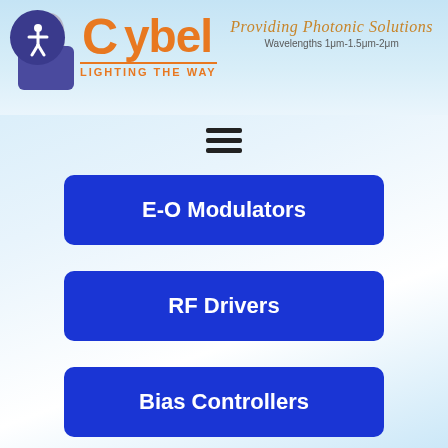[Figure (logo): Cybel logo with orange text, lock icon, accessibility button, and slogan 'LIGHTING THE WAY'. Right side shows cursive 'Providing Photonic Solutions' and 'Wavelengths 1μm-1.5μm-2μm'.]
[Figure (other): Hamburger menu icon (three horizontal lines)]
E-O Modulators
RF Drivers
Bias Controllers